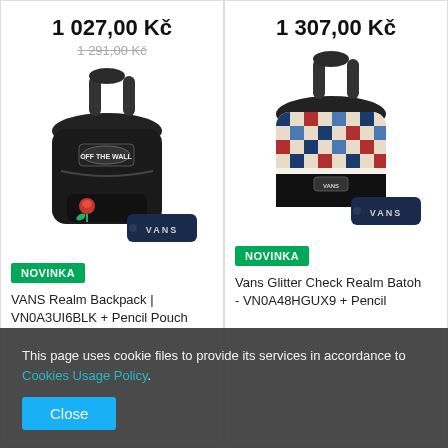1 027,00 Kč
1 291,00 Kč (crossed out)
1 307,00 Kč
[Figure (photo): Black VANS Realm backpack with rose embroidery and a navy VANS pencil pouch]
[Figure (photo): VANS Glitter Check Realm backpack with multicolor checkerboard pattern and a navy VANS pencil pouch]
NOVINKA
NOVINKA
VANS Realm Backpack | VN0A3UI6BLK + Pencil Pouch
Vans Glitter Check Realm Batoh - VN0A48HGUX9 + Pencil
This page uses cookie files to provide its services in accordance to Cookies Usage Policy.
Close